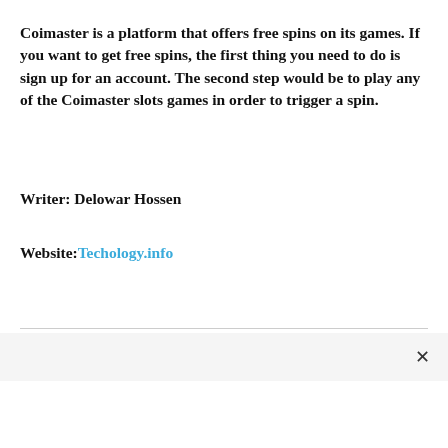Coimaster is a platform that offers free spins on its games. If you want to get free spins, the first thing you need to do is sign up for an account. The second step would be to play any of the Coimaster slots games in order to trigger a spin.
Writer: Delowar Hossen
Website: Techology.info